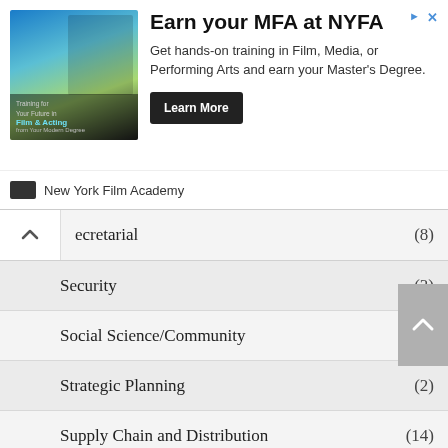[Figure (other): Advertisement banner for New York Film Academy MFA program with image of film student, 'Earn your MFA at NYFA' headline, description text, Learn More button, and NYFA logo.]
Secretarial (8)
Security (3)
Social Science/Community (34)
Strategic Planning (2)
Supply Chain and Distribution (14)
Training (21)
Travel and Tourism (1)
Warehouse (2)
Water and Sanitation (6)
Wholesale (1)